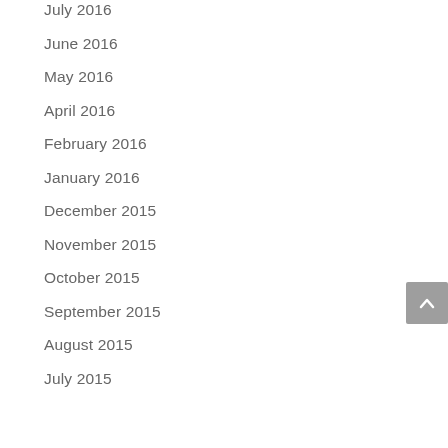July 2016
June 2016
May 2016
April 2016
February 2016
January 2016
December 2015
November 2015
October 2015
September 2015
August 2015
July 2015